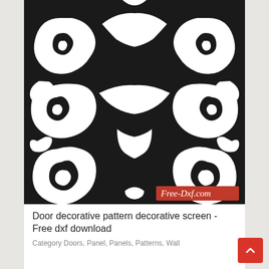[Figure (illustration): Black and white decorative door screen pattern with symmetrical ornamental scrollwork and floral motifs. A 'Free-Dxf.com' watermark appears in red in the bottom right corner.]
Door decorative pattern decorative screen - Free dxf download
Category Doors, Panel, Panels, Patterns, Wall